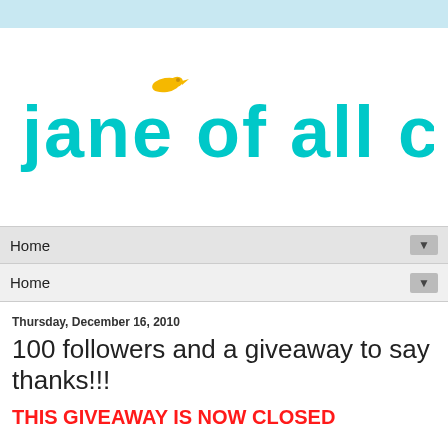[Figure (logo): Jane of All Crafts blog logo with teal/cyan stylized text and a small yellow bird above the letter O in 'of']
Home ▼
Home ▼
Thursday, December 16, 2010
100 followers and a giveaway to say thanks!!!
THIS GIVEAWAY IS NOW CLOSED